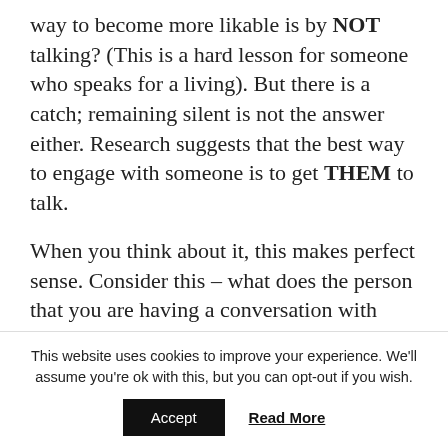way to become more likable is by NOT talking? (This is a hard lesson for someone who speaks for a living). But there is a catch; remaining silent is not the answer either. Research suggests that the best way to engage with someone is to get THEM to talk.
When you think about it, this makes perfect sense. Consider this – what does the person that you are having a conversation with care more about – themselves or you? Add
This website uses cookies to improve your experience. We'll assume you're ok with this, but you can opt-out if you wish.